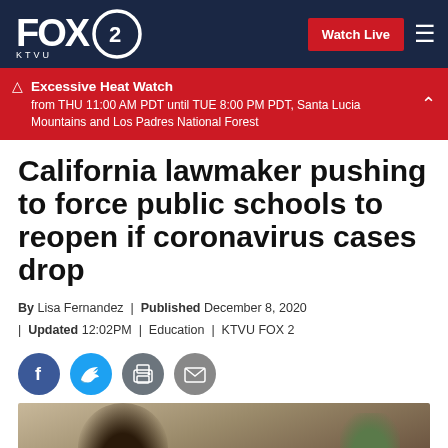FOX 2 KTVU — Watch Live
⚠ Excessive Heat Watch from THU 11:00 AM PDT until TUE 8:00 PM PDT, Santa Lucia Mountains and Los Padres National Forest
California lawmaker pushing to force public schools to reopen if coronavirus cases drop
By Lisa Fernandez | Published December 8, 2020 | Updated 12:02PM | Education | KTVU FOX 2
[Figure (screenshot): Social sharing icons: Facebook, Twitter, Print, Email]
[Figure (photo): Partial photo of person wearing mask, outdoor setting]